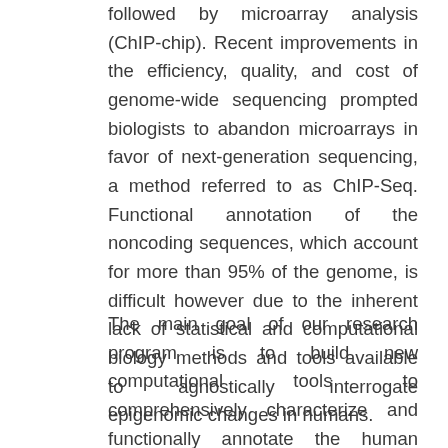followed by microarray analysis (ChIP-chip). Recent improvements in the efficiency, quality, and cost of genome-wide sequencing prompted biologists to abandon microarrays in favor of next-generation sequencing, a method referred to as ChIP-Seq. Functional annotation of the noncoding sequences, which account for more than 95% of the genome, is difficult however due to the inherent lack of statistical and computational biology methods and tools available to agnostically interrogate epigenomic changes in humans.
The main goal of our research program is to build new computational tools to comprehensively characterize and functionally annotate the human epigenome. This research programs builds on the power of next- generation sequencing (NGS) coupled with chromatin immunoprecipitation (ChIP), an approach called